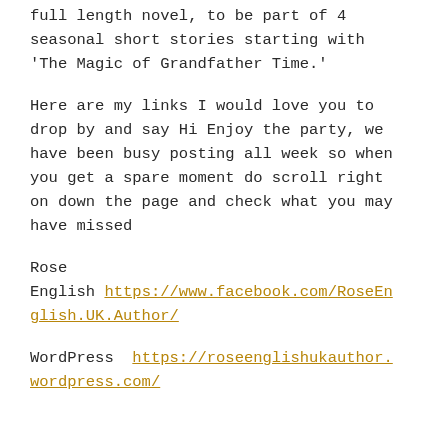full length novel, to be part of 4 seasonal short stories starting with 'The Magic of Grandfather Time.'
Here are my links I would love you to drop by and say Hi Enjoy the party, we have been busy posting all week so when you get a spare moment do scroll right on down the page and check what you may have missed
Rose
English https://www.facebook.com/RoseEnglish.UK.Author/

WordPress https://roseenglishukauthor.wordpress.com/